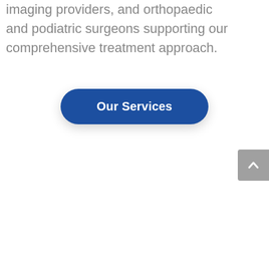imaging providers, and orthopaedic and podiatric surgeons supporting our comprehensive treatment approach.
Our Services